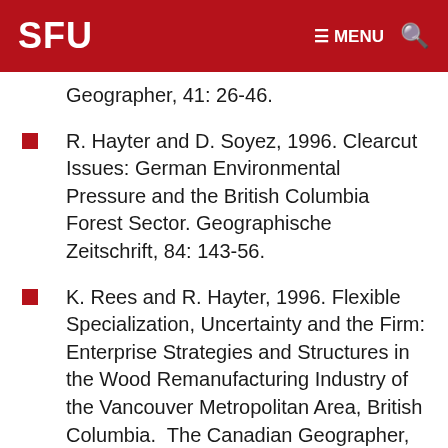SFU   ≡ MENU  🔍
Geographer, 41: 26-46.
R. Hayter and D. Soyez, 1996. Clearcut Issues: German Environmental Pressure and the British Columbia Forest Sector. Geographische Zeitschrift, 84: 143-56.
K. Rees and R. Hayter, 1996. Flexible Specialization, Uncertainty and the Firm: Enterprise Strategies and Structures in the Wood Remanufacturing Industry of the Vancouver Metropolitan Area, British Columbia.  The Canadian Geographer, 40: 203-219